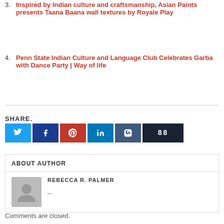3. Inspired by Indian culture and craftsmanship, Asian Paints presents Taana Baana wall textures by Royale Play
4. Penn State Indian Culture and Language Club Celebrates Garba with Dance Party | Way of life
SHARE.
[Figure (other): Social share buttons: Twitter, Facebook, Pinterest, LinkedIn, VK, share count showing 88]
ABOUT AUTHOR
REBECCA R. PALMER
Comments are closed.